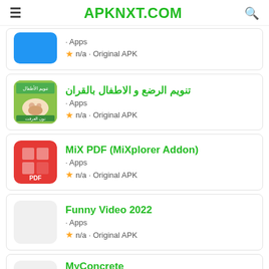APKNXT.COM
Apps · n/a · Original APK (partial, top card)
تنويم الرضع و الاطفال بالقران · Apps · n/a · Original APK
MiX PDF (MiXplorer Addon) · Apps · n/a · Original APK
Funny Video 2022 · Apps · n/a · Original APK
MyConcrete · Apps